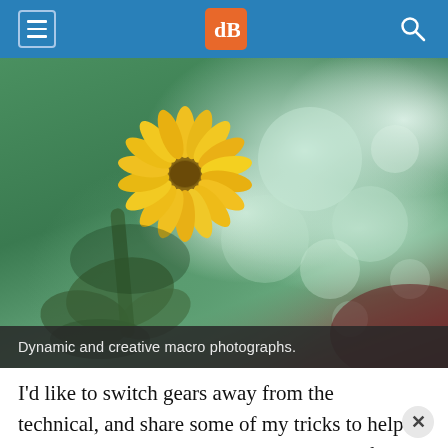dPS (digital Photography School) navigation bar
[Figure (photo): Close-up macro photograph of a yellow dandelion flower with bokeh background of green and teal circles of light. The flower is in sharp focus on the left side, with out-of-focus foliage below and blurred circular bokeh highlights on the right side.]
Dynamic and creative macro photographs.
I’d like to switch gears away from the technical, and share some of my tricks to help you creatively enhance your macro shots for added impact and emotive value. If you’re a